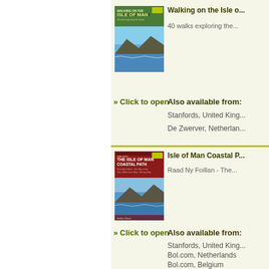[Figure (illustration): Book cover: Walking on the Isle of Man - green cover with coastal cliff photo]
Walking on the Isle o...
40 walks exploring the...
» Click to open
Also available from:
Stanfords, United King...
De Zwerver, Netherlan...
[Figure (illustration): Book cover: Isle of Man Coastal Path - red cover with coastal cliff photo]
Isle of Man Coastal P...
Raad Ny Foillan - The...
» Click to open
Also available from:
Stanfords, United King...
Bol.com, Netherlands
Bol.com, Belgium
De Zwerver, Netherlan...